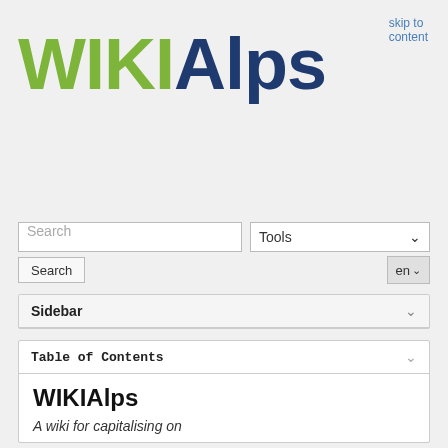skip to content
[Figure (logo): WIKIAlps logo with WIKI in green and Alps in dark blue, large bold text]
Search
Tools
Search
en
Sidebar
Table of Contents
WIKIAlps
A wiki for capitalising on